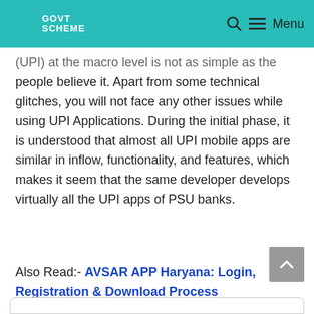GOVT SCHEME — Menu
(UPI) at the macro level is not as simple as the people believe it. Apart from some technical glitches, you will not face any other issues while using UPI Applications. During the initial phase, it is understood that almost all UPI mobile apps are similar in inflow, functionality, and features, which makes it seem that the same developer develops virtually all the UPI apps of PSU banks.
Also Read:- AVSAR APP Haryana: Login, Registration & Download Process